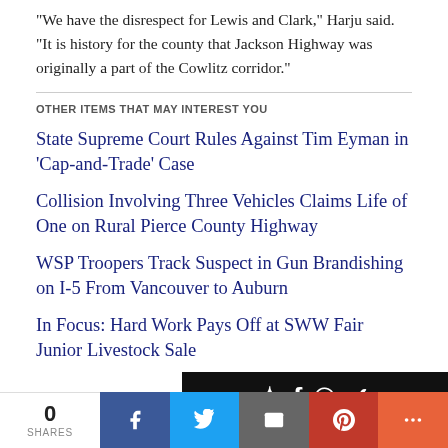“We have the disrespect for Lewis and Clark,” Harju said. “It is history for the county that Jackson Highway was originally a part of the Cowlitz corridor.”
OTHER ITEMS THAT MAY INTEREST YOU
State Supreme Court Rules Against Tim Eyman in ‘Cap-and-Trade’ Case
Collision Involving Three Vehicles Claims Life of One on Rural Pierce County Highway
WSP Troopers Track Suspect in Gun Brandishing on I-5 From Vancouver to Auburn
In Focus: Hard Work Pays Off at SWW Fair Junior Livestock Sale
[Figure (other): Social sharing bar with share count (0 SHARES) and buttons for Facebook, Twitter, Email, Pinterest, and More]
[Figure (logo): Dark banner with white text logo at bottom of page]